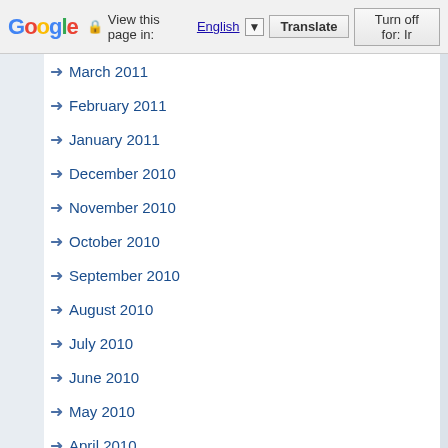Google | View this page in: English [▼] | Translate | Turn off for: Ir
March 2011
February 2011
January 2011
December 2010
November 2010
October 2010
September 2010
August 2010
July 2010
June 2010
May 2010
April 2010
March 2010